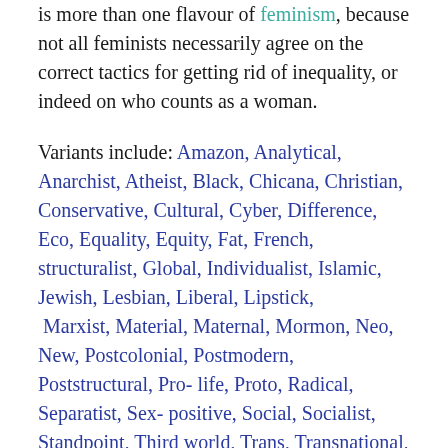is more than one flavour of feminism, because not all feminists necessarily agree on the correct tactics for getting rid of inequality, or indeed on who counts as a woman.
Variants include: Amazon, Analytical, Anarchist, Atheist, Black, Chicana, Christian, Conservative, Cultural, Cyber, Difference, Eco, Equality, Equity, Fat, French, structuralist, Global, Individualist, Islamic, Jewish, Lesbian, Liberal, Lipstick, Marxist, Material, Maternal, Mormon, Neo, New, Postcolonial, Postmodern, Poststructural, Pro-life, Proto, Radical, Separatist, Sex-positive, Social, Socialist, Standpoint, Third world, Trans, Transnational, and Womanism. There is even an online quiz for deciding what